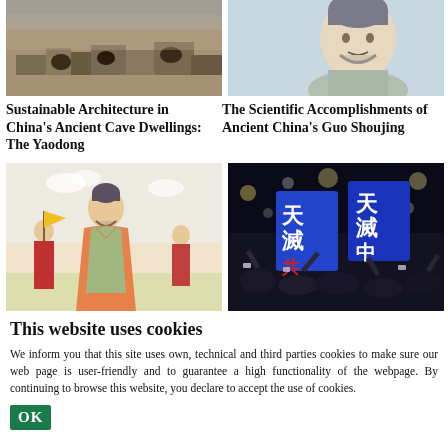[Figure (photo): Aerial or ground-level photo of ancient Chinese cave dwellings/ruins, brown/grey tones]
[Figure (illustration): Illustrated portrait of Guo Shoujing, ancient Chinese scientist, cartoon style, blue-grey background]
Sustainable Architecture in China's Ancient Cave Dwellings: The Yaodong
The Scientific Accomplishments of Ancient China's Guo Shoujing
[Figure (illustration): Illustration of ancient Chinese figures in historical robes, warm peach background]
[Figure (photo): Night protest photo with people holding signs with Chinese characters, crowd scene]
This website uses cookies
We inform you that this site uses own, technical and third parties cookies to make sure our web page is user-friendly and to guarantee a high functionality of the webpage. By continuing to browse this website, you declare to accept the use of cookies.
OK